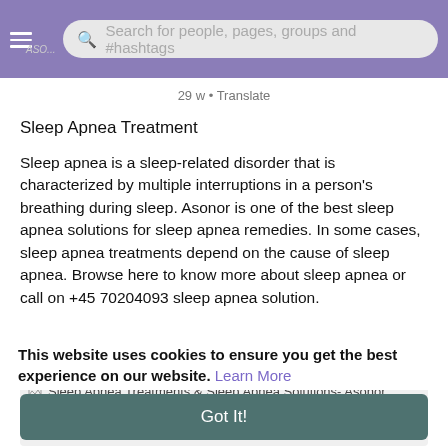[Figure (screenshot): Purple top navigation bar with hamburger menu icon, Asonor logo placeholder, and search bar with placeholder text 'Search for people, pages, groups and #hashtags']
29 w • Translate
Sleep Apnea Treatment
Sleep apnea is a sleep-related disorder that is characterized by multiple interruptions in a person's breathing during sleep. Asonor is one of the best sleep apnea solutions for sleep apnea remedies. In some cases, sleep apnea treatments depend on the cause of sleep apnea. Browse here to know more about sleep apnea or call on +45 70204093 sleep apnea solution.
https://www.asonor.com/sleep-a....pnea-treatments-reme
[Figure (screenshot): Broken image placeholder showing alt text: Sleep Apnea Treatments & Sleep Apnea Solutions- Asonor]
This website uses cookies to ensure you get the best experience on our website. Learn More
Got It!